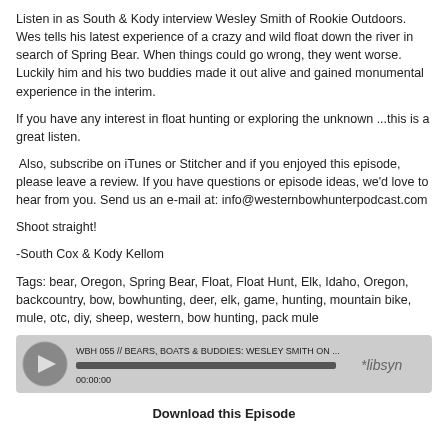Listen in as South & Kody interview Wesley Smith of Rookie Outdoors. Wes tells his latest experience of a crazy and wild float down the river in search of Spring Bear. When things could go wrong, they went worse. Luckily him and his two buddies made it out alive and gained monumental experience in the interim.
If you have any interest in float hunting or exploring the unknown ...this is a great listen.
Also, subscribe on iTunes or Stitcher and if you enjoyed this episode, please leave a review. If you have questions or episode ideas, we'd love to hear from you. Send us an e-mail at: info@westernbowhunterpodcast.com
Shoot straight!
-South Cox & Kody Kellom
Tags: bear, Oregon, Spring Bear, Float, Float Hunt, Elk, Idaho, Oregon, backcountry, bow, bowhunting, deer, elk, game, hunting, mountain bike, mule, otc, diy, sheep, western, bow hunting, pack mule
[Figure (other): Audio player widget showing podcast episode WBH 055 // BEARS, BOATS & BUDDIES: WESLEY SMITH ON ... with play button, progress bar at 00:00:00, and Libsyn logo]
Download this Episode